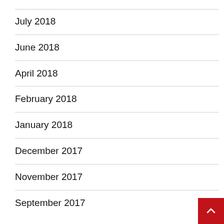July 2018
June 2018
April 2018
February 2018
January 2018
December 2017
November 2017
September 2017